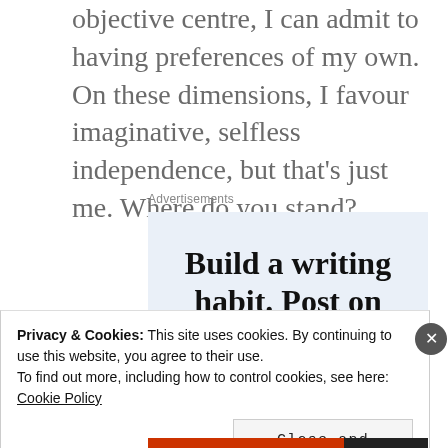objective centre, I can admit to having preferences of my own. On these dimensions, I favour imaginative, selfless independence, but that's just me. Where do you stand?
Advertisements
[Figure (other): Advertisement box with light blue background containing the text 'Build a writing habit. Post on']
Privacy & Cookies: This site uses cookies. By continuing to use this website, you agree to their use.
To find out more, including how to control cookies, see here: Cookie Policy
Close and accept